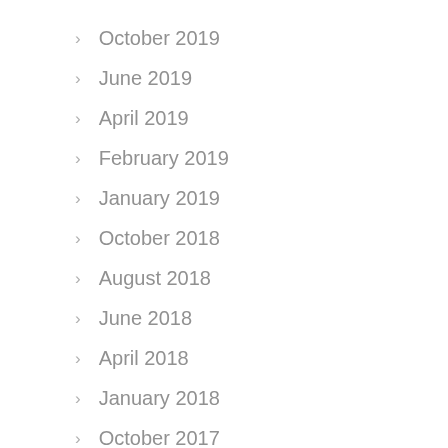October 2019
June 2019
April 2019
February 2019
January 2019
October 2018
August 2018
June 2018
April 2018
January 2018
October 2017
August 2017